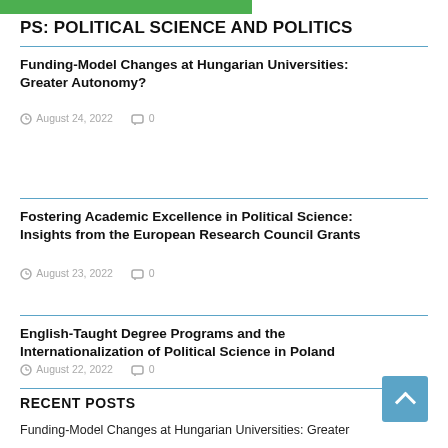[Figure (other): Green banner strip at top of page]
PS: POLITICAL SCIENCE AND POLITICS
Funding-Model Changes at Hungarian Universities: Greater Autonomy?
August 24, 2022   0
Fostering Academic Excellence in Political Science: Insights from the European Research Council Grants
August 23, 2022   0
English-Taught Degree Programs and the Internationalization of Political Science in Poland
August 22, 2022   0
RECENT POSTS
Funding-Model Changes at Hungarian Universities: Greater